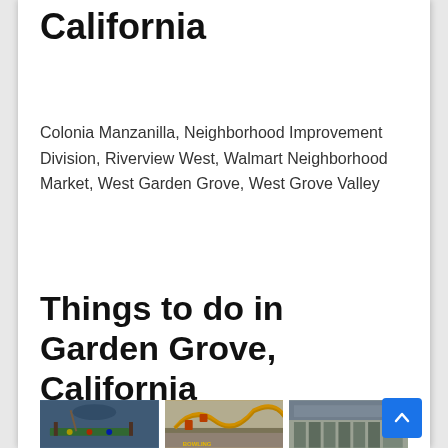California
Colonia Manzanilla, Neighborhood Improvement Division, Riverview West, Walmart Neighborhood Market, West Garden Grove, West Grove Valley
Things to do in Garden Grove, California
[Figure (photo): Three photos showing activities in Garden Grove: a pool hall, a roller coaster, and a market/store interior]